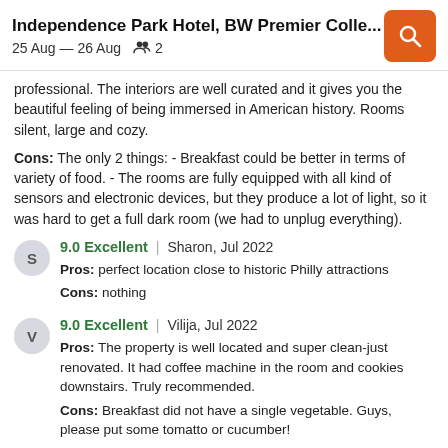Independence Park Hotel, BW Premier Colle... | 25 Aug – 26 Aug | 2 guests
professional. The interiors are well curated and it gives you the beautiful feeling of being immersed in American history. Rooms silent, large and cozy.
Cons: The only 2 things: - Breakfast could be better in terms of variety of food. - The rooms are fully equipped with all kind of sensors and electronic devices, but they produce a lot of light, so it was hard to get a full dark room (we had to unplug everything).
9.0 Excellent | Sharon, Jul 2022
Pros: perfect location close to historic Philly attractions
Cons: nothing
9.0 Excellent | Vilija, Jul 2022
Pros: The property is well located and super clean-just renovated. It had coffee machine in the room and cookies downstairs. Truly recommended.
Cons: Breakfast did not have a single vegetable. Guys, please put some tomatto or cucumber!